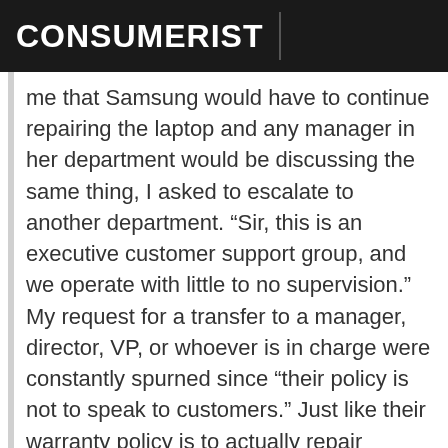CONSUMERIST
me that Samsung would have to continue repairing the laptop and any manager in her department would be discussing the same thing, I asked to escalate to another department. “Sir, this is an executive customer support group, and we operate with little to no supervision.” My request for a transfer to a manager, director, VP, or whoever is in charge were constantly spurned since “their policy is not to speak to customers.” Just like their warranty policy is to actually repair problems and not create new ones, right?
Someone is talking to me on their